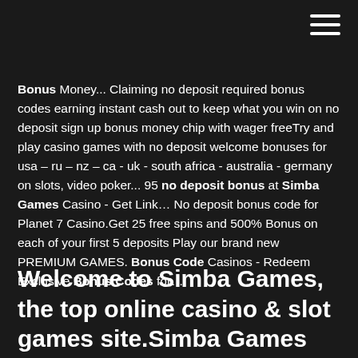Bonus Money... Claiming no deposit required bonus codes earning instant cash out to keep what you win on no deposit sign up bonus money chip with wager freeTry and play casino games with no deposit welcome bonuses for usa – ru – nz – ca - uk - south africa - australia - germany on slots, video poker... 95 no deposit bonus at Simba Games Casino - Get Link… No deposit bonus code for Planet 7 Casino.Get 25 free spins and 500% Bonus on each of your first 5 deposits Play our brand new PREMIUM GAMES. Bonus Code Casinos - Redeem Exclusive Bonus Codes for…
Welcome to Simba Games, the top online casino & slot games site.Simba Games offer free